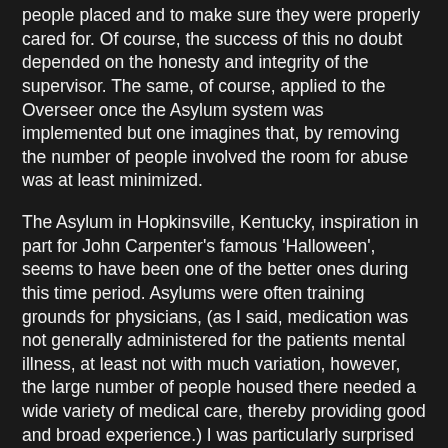people placed and to make sure they were properly cared for. Of course, the success of this no doubt depended on the honesty and integrity of the supervisor. The same, of course, applied to the Overseer once the Asylum system was implemented but one imagines that, by removing the number of people involved the room for abuse was at least minimized.
The Asylum in Hopkinsville, Kentucky, inspiration in part for John Carpenter's famous 'Halloween', seems to have been one of the better ones during this time period. Asylums were often training grounds for physicians, (as I said, medication was not generally administered for the patients mental illness, at least not with much variation, however, the large number of people housed there needed a wide variety of medical care, thereby providing good and broad experience.) I was particularly surprised by the number of female doctors listed on staff, a far greater percentage than one generally imagines working in the era.
Reports of conditions in Asylums of the time vary from the horrifying to relatively happy farm life, again, depending on